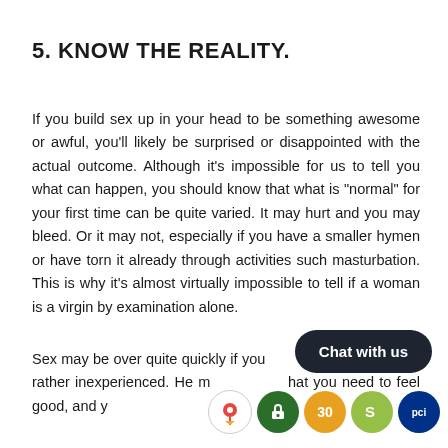5. KNOW THE REALITY.
If you build sex up in your head to be something awesome or awful, you’ll likely be surprised or disappointed with the actual outcome. Although it’s impossible for us to tell you what can happen, you should know that what is “normal” for your first time can be quite varied. It may hurt and you may bleed. Or it may not, especially if you have a smaller hymen or have torn it already through activities such masturbation. This is why it’s almost virtually impossible to tell if a woman is a virgin by examination alone.
Sex may be over quite quickly if you… a virgin or rather inexperienced. He m… hat you need to feel good, and y… …